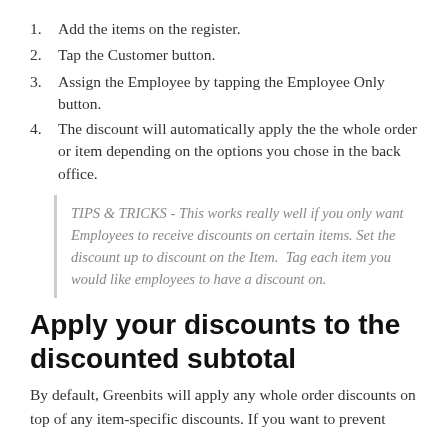1. Add the items on the register.
2. Tap the Customer button.
3. Assign the Employee by tapping the Employee Only button.
4. The discount will automatically apply the the whole order or item depending on the options you chose in the back office.
TIPS & TRICKS - This works really well if you only want Employees to receive discounts on certain items. Set the discount up to discount on the Item. Tag each item you would like employees to have a discount on.
Apply your discounts to the discounted subtotal
By default, Greenbits will apply any whole order discounts on top of any item-specific discounts. If you want to prevent